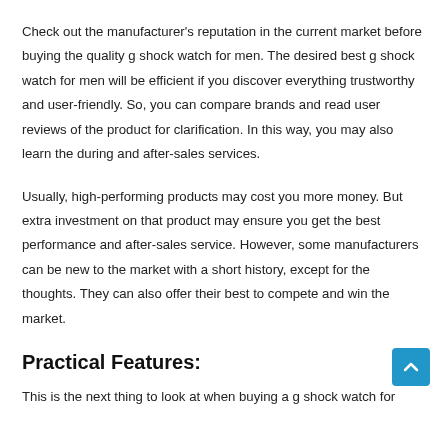Check out the manufacturer's reputation in the current market before buying the quality g shock watch for men. The desired best g shock watch for men will be efficient if you discover everything trustworthy and user-friendly. So, you can compare brands and read user reviews of the product for clarification. In this way, you may also learn the during and after-sales services.
Usually, high-performing products may cost you more money. But extra investment on that product may ensure you get the best performance and after-sales service. However, some manufacturers can be new to the market with a short history, except for the thoughts. They can also offer their best to compete and win the market.
Practical Features:
This is the next thing to look at when buying a g shock watch for